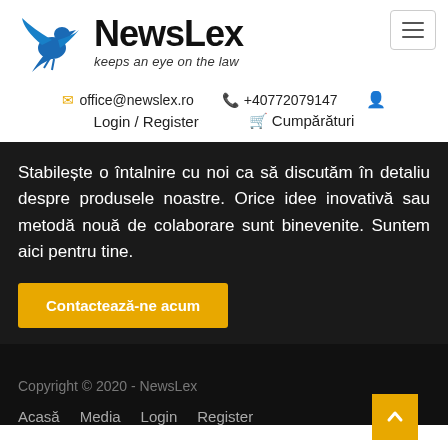[Figure (logo): NewsLex logo with blue eagle and text 'NewsLex keeps an eye on the law']
office@newslex.ro   +40772079147   Login / Register   Cumpărături
Stabilește o întalnire cu noi ca să discutăm în detaliu despre produsele noastre. Orice idee inovativă sau metodă nouă de colaborare sunt binevenite. Suntem aici pentru tine.
Contactează-ne acum
Copyright © 2020 - NewsLex
Acasă   Media   Login   Register